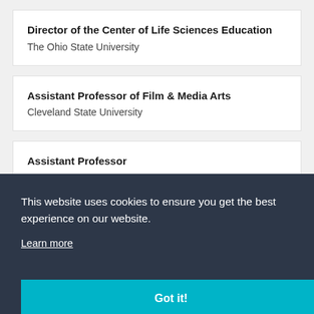Director of the Center of Life Sciences Education
The Ohio State University
Assistant Professor of Film & Media Arts
Cleveland State University
Assistant Professor
This website uses cookies to ensure you get the best experience on our website.
Learn more
Got it!